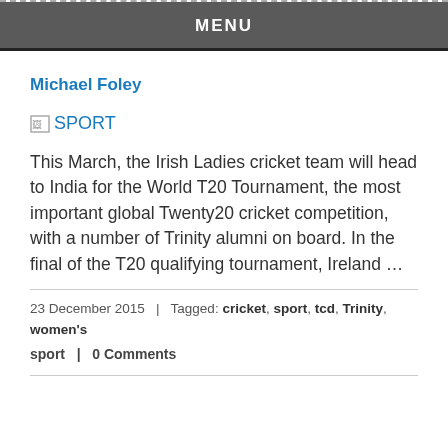MENU
Michael Foley
[Figure (other): Broken image placeholder with label SPORT]
This March, the Irish Ladies cricket team will head to India for the World T20 Tournament, the most important global Twenty20 cricket competition, with a number of Trinity alumni on board. In the final of the T20 qualifying tournament, Ireland …
23 December 2015  |  Tagged: cricket, sport, tcd, Trinity, women's sport  |  0 Comments